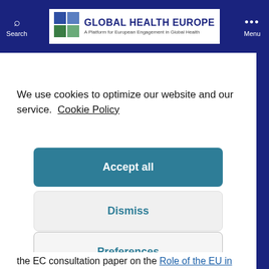Search | GLOBAL HEALTH EUROPE A Platform for European Engagement in Global Health | Menu
We use cookies to optimize our website and our service. Cookie Policy
Accept all
Dismiss
Preferences
the EC consultation paper on the Role of the EU in